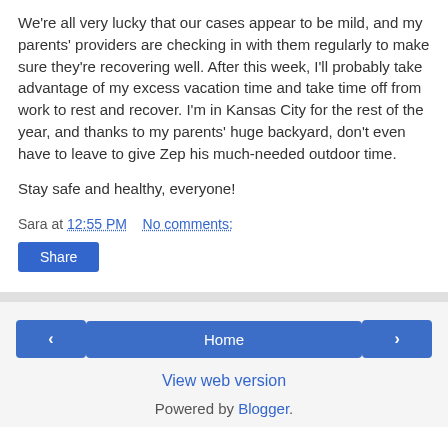We're all very lucky that our cases appear to be mild, and my parents' providers are checking in with them regularly to make sure they're recovering well. After this week, I'll probably take advantage of my excess vacation time and take time off from work to rest and recover. I'm in Kansas City for the rest of the year, and thanks to my parents' huge backyard, don't even have to leave to give Zep his much-needed outdoor time.
Stay safe and healthy, everyone!
Sara at 12:55 PM    No comments:
Share
Home
View web version
Powered by Blogger.